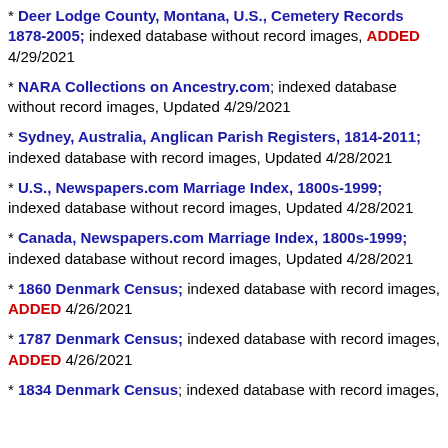* Deer Lodge County, Montana, U.S., Cemetery Records 1878-2005; indexed database without record images, ADDED 4/29/2021
* NARA Collections on Ancestry.com; indexed database without record images, Updated 4/29/2021
* Sydney, Australia, Anglican Parish Registers, 1814-2011; indexed database with record images, Updated 4/28/2021
* U.S., Newspapers.com Marriage Index, 1800s-1999; indexed database without record images, Updated 4/28/2021
* Canada, Newspapers.com Marriage Index, 1800s-1999; indexed database without record images, Updated 4/28/2021
* 1860 Denmark Census; indexed database with record images, ADDED 4/26/2021
* 1787 Denmark Census; indexed database with record images, ADDED 4/26/2021
* 1834 Denmark Census; indexed database with record images, ...